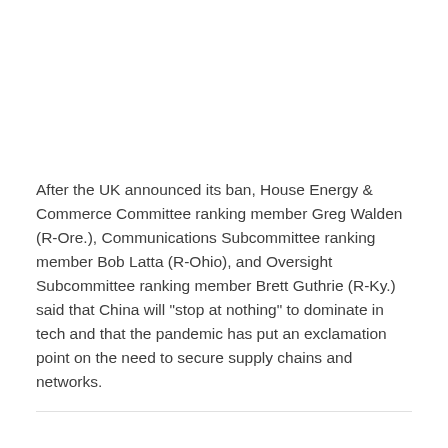After the UK announced its ban, House Energy & Commerce Committee ranking member Greg Walden (R-Ore.), Communications Subcommittee ranking member Bob Latta (R-Ohio), and Oversight Subcommittee ranking member Brett Guthrie (R-Ky.) said that China will "stop at nothing" to dominate in tech and that the pandemic has put an exclamation point on the need to secure supply chains and networks.